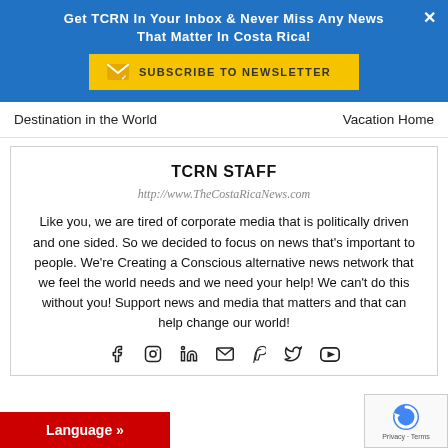Get TCRN In Your Inbox & Never Miss Any News That Matter In Costa Rica!
SUBSCRIBE TO NEWSLETTER
Destination in the World    Vacation Home
TCRN STAFF
http://www.TheCostaRicaNews.com
Like you, we are tired of corporate media that is politically driven and one sided. So we decided to focus on news that's important to people. We're Creating a Conscious alternative news network that we feel the world needs and we need your help! We can't do this without you! Support news and media that matters and that can help change our world!
Language »